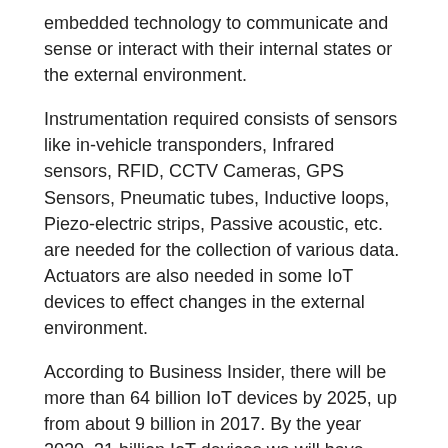embedded technology to communicate and sense or interact with their internal states or the external environment.
Instrumentation required consists of sensors like in-vehicle transponders, Infrared sensors, RFID, CCTV Cameras, GPS Sensors, Pneumatic tubes, Inductive loops, Piezo-electric strips, Passive acoustic, etc. are needed for the collection of various data. Actuators are also needed in some IoT devices to effect changes in the external environment.
According to Business Insider, there will be more than 64 billion IoT devices by 2025, up from about 9 billion in 2017. By the year 2020, 31 billion IoT devices we will have been installed. All these IoT devices generate a lot of data that needs to be collected and mined for actionable results.
IoT has, in tandem with several other emerging